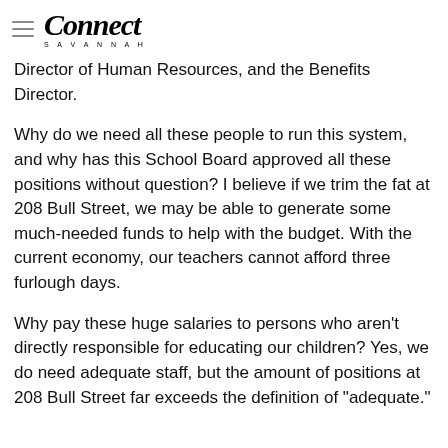Connect Savannah
Director of Human Resources, and the Benefits Director.
Why do we need all these people to run this system, and why has this School Board approved all these positions without question? I believe if we trim the fat at 208 Bull Street, we may be able to generate some much-needed funds to help with the budget. With the current economy, our teachers cannot afford three furlough days.
Why pay these huge salaries to persons who aren't directly responsible for educating our children? Yes, we do need adequate staff, but the amount of positions at 208 Bull Street far exceeds the definition of "adequate."